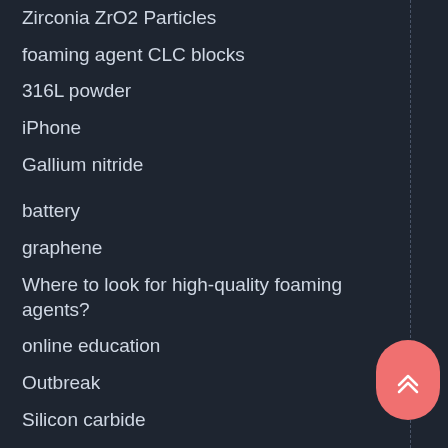Zirconia ZrO2 Particles
foaming agent CLC blocks
316L powder
iPhone
Gallium nitride
battery
graphene
Where to look for high-quality foaming agents?
online education
Outbreak
Silicon carbide
Graphene oxide